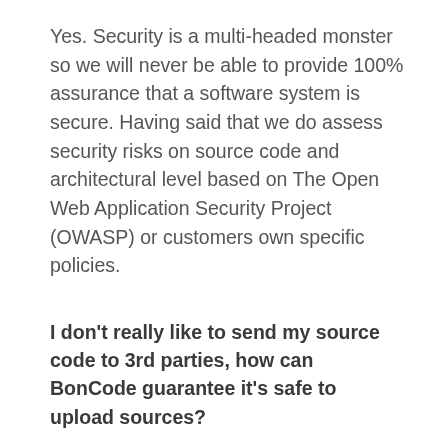Yes. Security is a multi-headed monster so we will never be able to provide 100% assurance that a software system is secure. Having said that we do assess security risks on source code and architectural level based on The Open Web Application Security Project (OWASP) or customers own specific policies.
I don't really like to send my source code to 3rd parties, how can BonCode guarantee it's safe to upload sources?
This is fully understood, but source code